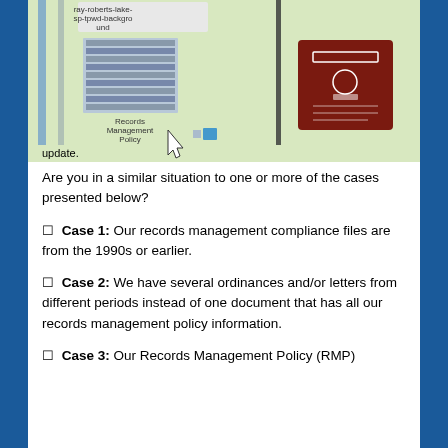[Figure (screenshot): Screenshot of a records management software interface showing 'ray-roberts-lake-sp-tpwd-background' file path, a document list/table, a 'Records Management Policy' label, a cursor arrow, and a dark red ID card icon. The word 'update.' appears at the bottom left.]
Are you in a similar situation to one or more of the cases presented below?
Case 1: Our records management compliance files are from the 1990s or earlier.
Case 2: We have several ordinances and/or letters from different periods instead of one document that has all our records management policy information.
Case 3: Our Records Management Policy (RMP)